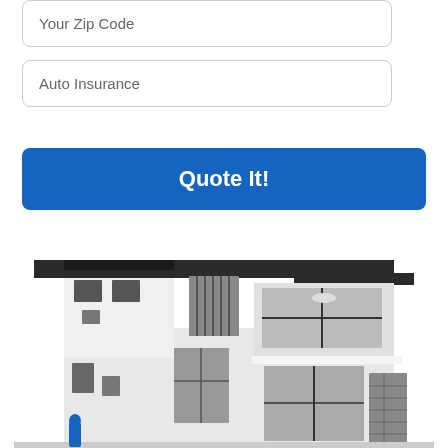Your Zip Code
Auto Insurance
Quote It!
[Figure (illustration): Black and white rendering of a modern two-story house with flat roof overhangs, large windows, and mixed white and stone exterior materials.]